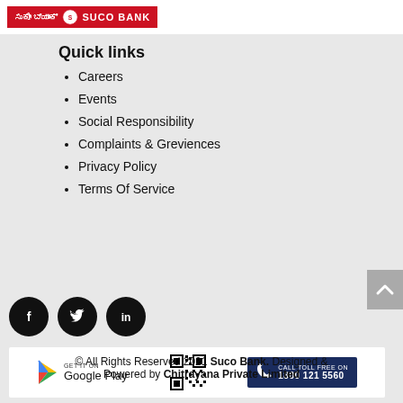[Figure (logo): Suco Bank logo with Kannada text on red background]
Quick links
Careers
Events
Social Responsibility
Complaints & Greviences
Privacy Policy
Terms Of Service
[Figure (infographic): Social media icons: Facebook, Twitter, LinkedIn (black circles)]
[Figure (infographic): App bar with Google Play button, QR code, and CALL TOLL FREE ON 1800 121 5560]
© All Rights Reserved 2021 Suco Bank. Designed & Powered by Chitrayana Private Limited